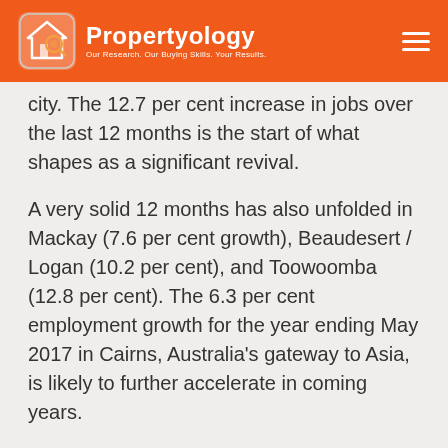Propertyology — Our Research. Our Buying Skills. Your Results.
city. The 12.7 per cent increase in jobs over the last 12 months is the start of what shapes as a significant revival.
A very solid 12 months has also unfolded in Mackay (7.6 per cent growth), Beaudesert / Logan (10.2 per cent), and Toowoomba (12.8 per cent). The 6.3 per cent employment growth for the year ending May 2017 in Cairns, Australia's gateway to Asia, is likely to further accelerate in coming years.